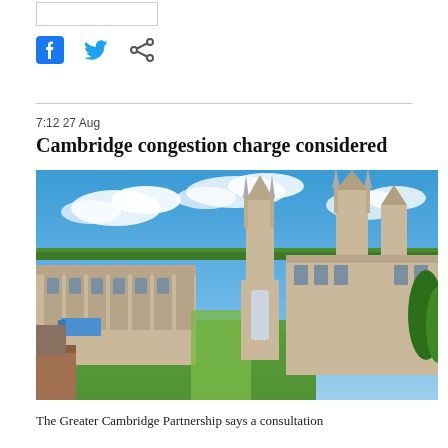[Figure (other): Facebook, Twitter, and share social media icons]
7:12 27 Aug
Cambridge congestion charge considered
[Figure (photo): Aerial view of Cambridge city centre showing King's College Chapel and surrounding historic buildings with green lawns under a blue sky with clouds]
The Greater Cambridge Partnership says a consultation